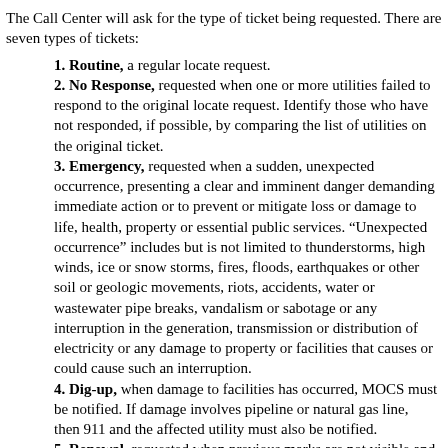The Call Center will ask for the type of ticket being requested. There are seven types of tickets:
1. Routine, a regular locate request.
2. No Response, requested when one or more utilities failed to respond to the original locate request. Identify those who have not responded, if possible, by comparing the list of utilities on the original ticket.
3. Emergency, requested when a sudden, unexpected occurrence, presenting a clear and imminent danger demanding immediate action or to prevent or mitigate loss or damage to life, health, property or essential public services. “Unexpected occurrence” includes but is not limited to thunderstorms, high winds, ice or snow storms, fires, floods, earthquakes or other soil or geologic movements, riots, accidents, water or wastewater pipe breaks, vandalism or sabotage or any interruption in the generation, transmission or distribution of electricity or any damage to property or facilities that causes or could cause such an interruption.
4. Dig-up, when damage to facilities has occurred, MOCS must be notified. If damage involves pipeline or natural gas line, then 911 and the affected utility must also be notified.
5. Renewal, requested when previous marks are not visible and need to be remarked due to weather, construction or work not starting.